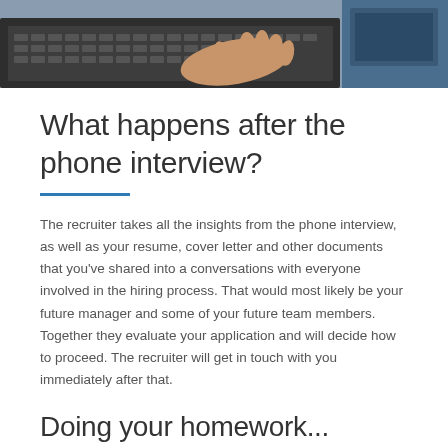[Figure (photo): Photo of hands typing on a keyboard at a desk, with a monitor visible on the right side]
What happens after the phone interview?
The recruiter takes all the insights from the phone interview, as well as your resume, cover letter and other documents that you've shared into a conversations with everyone involved in the hiring process. That would most likely be your future manager and some of your future team members. Together they evaluate your application and will decide how to proceed. The recruiter will get in touch with you immediately after that.
Doing your homework...